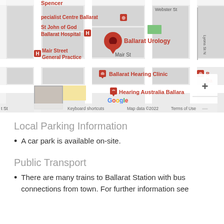[Figure (map): Google Maps screenshot showing Ballarat Urology location near Mair St, with nearby landmarks including St John of God Ballarat Hospital, Mair Street General Practice, Ballarat Hearing Clinic, Hearing Australia Ballarat, and Specialist Centre Ballarat. Map shows street grid with Webster St and Lyons St N visible. Google branding, zoom controls (+/-), Keyboard shortcuts, Map data ©2022, Terms of Use shown.]
Local Parking Information
A car park is available on-site.
Public Transport
There are many trains to Ballarat Station with bus connections from town. For further information see